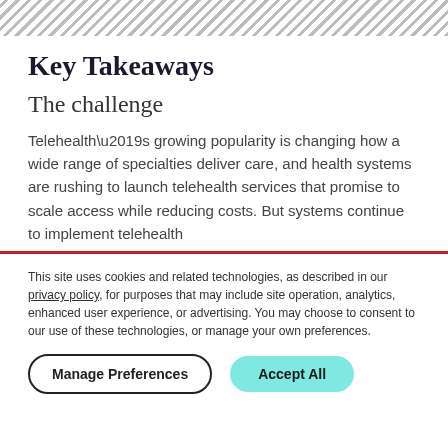Key Takeaways
The challenge
Telehealth’s growing popularity is changing how a wide range of specialties deliver care, and health systems are rushing to launch telehealth services that promise to scale access while reducing costs. But systems continue to implement telehealth
This site uses cookies and related technologies, as described in our privacy policy, for purposes that may include site operation, analytics, enhanced user experience, or advertising. You may choose to consent to our use of these technologies, or manage your own preferences.
Manage Preferences | Accept All